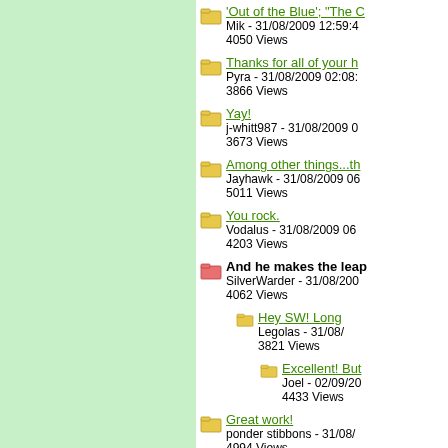[Figure (other): Light green left panel background]
'Out of the Blue'; "The ... - Mik - 31/08/2009 12:59:4... - 4050 Views
Thanks for all of your h... - Pyra - 31/08/2009 02:08:... - 3866 Views
Yay! - j-whitt987 - 31/08/2009 0... - 3673 Views
Among other things...th... - Jayhawk - 31/08/2009 06... - 5011 Views
You rock. - Vodalus - 31/08/2009 06... - 4203 Views
And he makes the leap... - SilverWarder - 31/08/200... - 4062 Views
Hey SW! Long... - Legolas - 31/08/... - 3821 Views
Excellent! But... - Joel - 02/09/20... - 4433 Views
Great work! - ponder stibbons - 31/08/... - 4994 Views